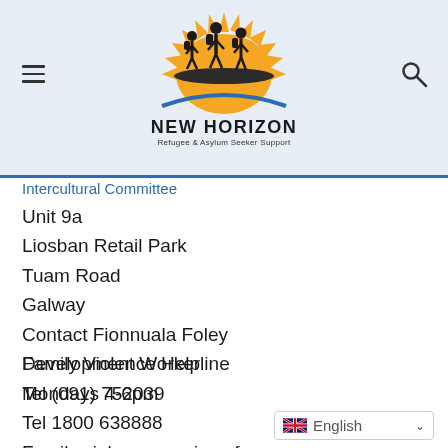[Figure (logo): New Horizon Refugee & Asylum Seeker Support logo with orange sunburst and silhouette of refugees walking, blue arc, bold text NEW HORIZON and tagline Refugee & Asylum Seeker Support]
Intercultural Committee
Unit 9a
Liosban Retail Park
Tuam Road
Galway
Contact Fionnuala Foley
Development Worker
Tel (091) 752039
Family Violence Helpline
Mondays 4-6pm
Tel 1800 638888
Family violence service of
[Figure (illustration): English language selector with UK flag icon and dropdown chevron]